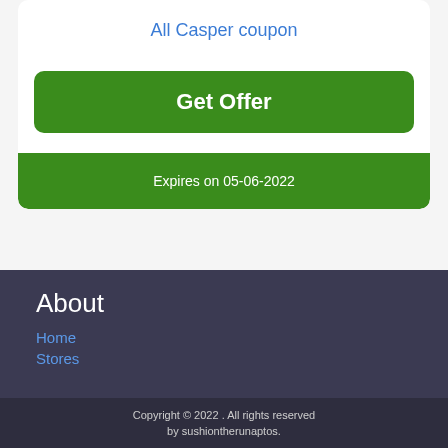All Casper coupon
[Figure (other): Green 'Get Offer' button]
Expires on 05-06-2022
About
Home
Stores
Copyright © 2022 . All rights reserved by sushiontherunaptos.